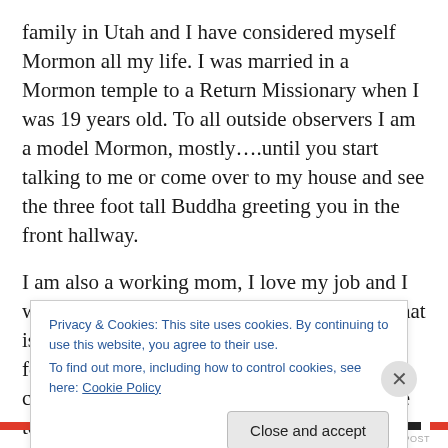family in Utah and I have considered myself Mormon all my life. I was married in a Mormon temple to a Return Missionary when I was 19 years old. To all outside observers I am a model Mormon, mostly….until you start talking to me or come over to my house and see the three foot tall Buddha greeting you in the front hallway.
I am also a working mom, I love my job and I would not change my circumstance, this is what is best for me and my family. I am also a feminist. I feel being feminist means equality, civil rights for everyone. That point brings me to
Privacy & Cookies: This site uses cookies. By continuing to use this website, you agree to their use.
To find out more, including how to control cookies, see here: Cookie Policy
Close and accept